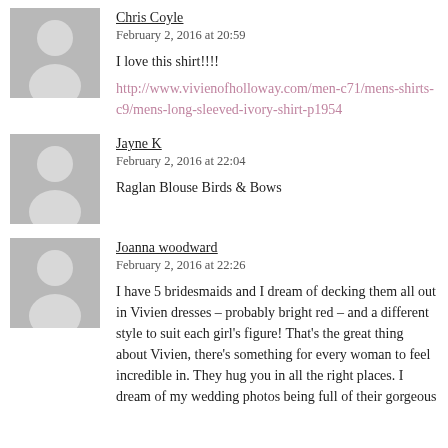[Figure (illustration): Grey placeholder avatar silhouette for Chris Coyle comment]
Chris Coyle
February 2, 2016 at 20:59

I love this shirt!!!!

http://www.vivienofholloway.com/men-c71/mens-shirts-c9/mens-long-sleeved-ivory-shirt-p1954
[Figure (illustration): Grey placeholder avatar silhouette for Jayne K comment]
Jayne K
February 2, 2016 at 22:04

Raglan Blouse Birds & Bows
[Figure (illustration): Grey placeholder avatar silhouette for Joanna woodward comment]
Joanna woodward
February 2, 2016 at 22:26

I have 5 bridesmaids and I dream of decking them all out in Vivien dresses – probably bright red – and a different style to suit each girl's figure! That's the great thing about Vivien, there's something for every woman to feel incredible in. They hug you in all the right places. I dream of my wedding photos being full of their gorgeous